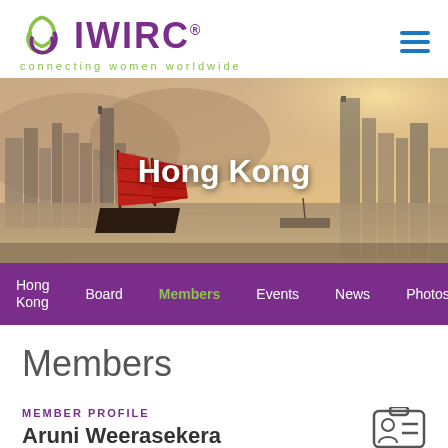[Figure (logo): IWIRC logo with purple triangle knot icon, purple text IWIRC with registered trademark, green tagline 'connecting women worldwide']
[Figure (photo): Hong Kong harbor skyline at dusk with a traditional red-sailed junk boat in the foreground]
Hong Kong
Hong Kong | Board | Members | Events | News | Photos | Sponsors
Members
MEMBER PROFILE
Aruni Weerasekera